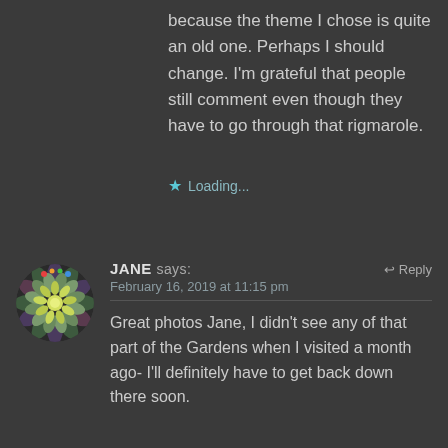because the theme I chose is quite an old one. Perhaps I should change. I'm grateful that people still comment even though they have to go through that rigmarole.
Loading...
JANE says:  Reply
February 16, 2019 at 11:15 pm
Great photos Jane, I didn't see any of that part of the Gardens when I visited a month ago- I'll definitely have to get back down there soon.